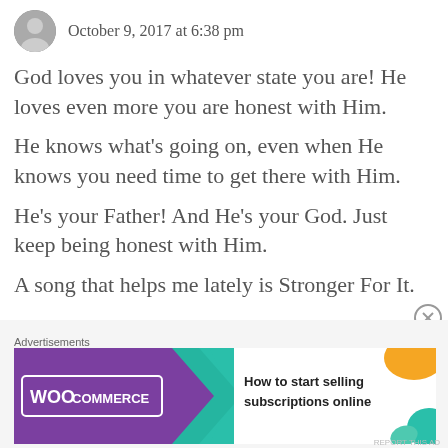October 9, 2017 at 6:38 pm
God loves you in whatever state you are! He loves even more you are honest with Him.

He knows what's going on, even when He knows you need time to get there with Him.

He's your Father! And He's your God. Just keep being honest with Him.

A song that helps me lately is Stronger For It.
Advertisements
[Figure (screenshot): WooCommerce advertisement banner: purple background with WooCommerce logo and arrow, text 'How to start selling subscriptions online', orange and teal decorative shapes]